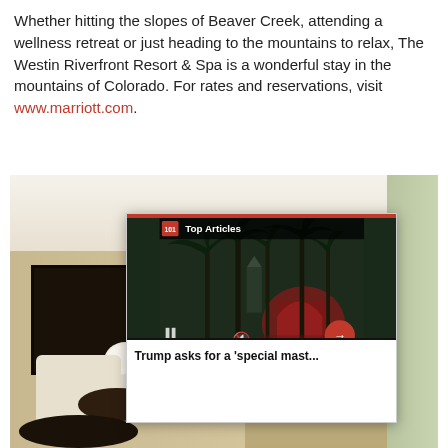Whether hitting the slopes of Beaver Creek, attending a wellness retreat or just heading to the mountains to relax, The Westin Riverfront Resort & Spa is a wonderful stay in the mountains of Colorado. For rates and reservations, visit www.marriott.com.
[Figure (photo): Hotel room interior photo showing a seating area with a white lamp, armchair, dark wood side tables, and a coffee table. Overlaid on the photo is a news widget showing 'Top Articles' with an image of a tropical building with palm trees at night, and the headline 'Trump asks for a special mast...' with a red navigation arrow and mute icon visible.]